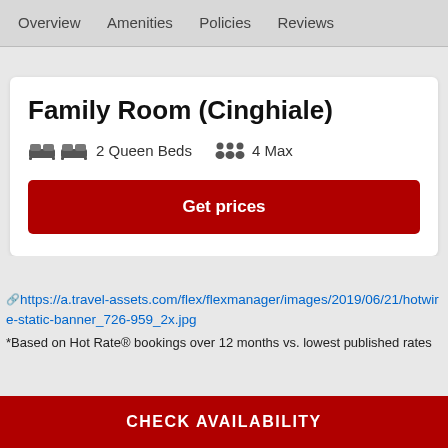Overview   Amenities   Policies   Reviews
Family Room (Cinghiale)
2 Queen Beds   4 Max
Get prices
https://a.travel-assets.com/flex/flexmanager/images/2019/06/21/hotwire-static-banner_726-959_2x.jpg
*Based on Hot Rate® bookings over 12 months vs. lowest published rates
CHECK AVAILABILITY